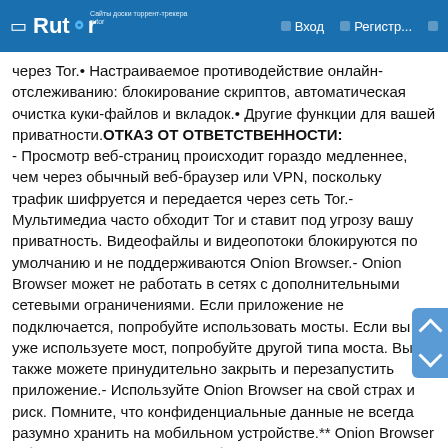Rutor | Вход | Регистр...
через Tor.• Настраиваемое противодействие онлайн-отслеживанию: блокирование скриптов, автоматическая очистка куки-файлов и вкладок.• Другие функции для вашей приватности.ОТКАЗ ОТ ОТВЕТСТВЕННОСТИ:
- Просмотр веб-страниц происходит гораздо медленнее, чем через обычный веб-браузер или VPN, поскольку трафик шифруется и передается через сеть Tor.- Мультимедиа часто обходит Tor и ставит под угрозу вашу приватность. Видеофайлы и видеопотоки блокируются по умолчанию и не поддерживаются Onion Browser.- Onion Browser может не работать в сетях с дополнительными сетевыми ограничениями. Если приложение не подключается, попробуйте использовать мосты. Если вы уже используете мост, попробуйте другой типа моста. Вы также можете принудительно закрыть и перезапустить приложение.- Используйте Onion Browser на свой страх и риск. Помните, что конфиденциальные данные не всегда разумно хранить на мобильном устройстве.** Onion Browser – бесплатное программное обеспечение с открытым исходным кодом. На